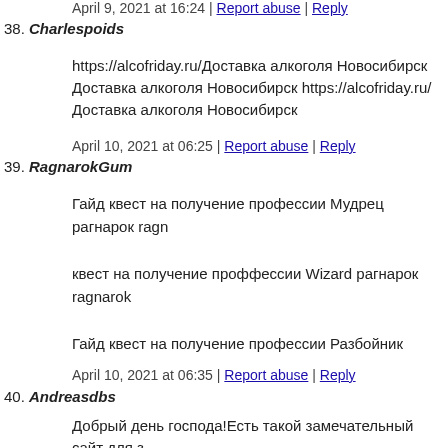April 9, 2021 at 16:24 | Report abuse | Reply
38. Charlespoids
https://alcofriday.ru/Доставка алкоголя Новосибирск Доставка алкоголя Новосибирск https://alcofriday.ru/ Доставка алкоголя Новосибирск
April 10, 2021 at 06:25 | Report abuse | Reply
39. RagnarokGum
Гайд квест на получение профессии Мудрец рагнарок ragn
квест на получение проффессии Wizard рагнарок ragnarok
Гайд квест на получение профессии Разбойник рагнарок ra
Гайд квест на получение профессии Убийца рагнарок ragn
April 10, 2021 at 06:35 | Report abuse | Reply
40. Andreasdbs
Добрый день господа!Есть такой замечательный сайт для з https://drive.google.com/file/d/1Y0zYtrRCia9jfU-BH3WPIbh – полный комплекс качественных и разумных по цене услу получите доступ к экологически чистой природной воде по собственная скважина и вы решаете самостоятельно обесп